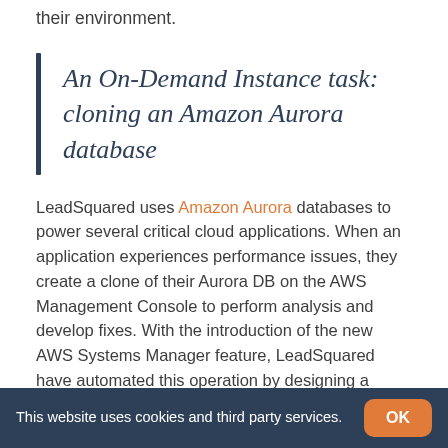their environment.
An On-Demand Instance task: cloning an Amazon Aurora database
LeadSquared uses Amazon Aurora databases to power several critical cloud applications. When an application experiences performance issues, they create a clone of their Aurora DB on the AWS Management Console to perform analysis and develop fixes. With the introduction of the new AWS Systems Manager feature, LeadSquared have automated this operation by designing a Python script that creates a clone of their
This website uses cookies and third party services.